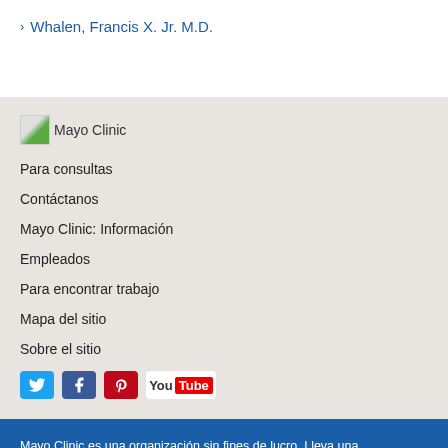› Whalen, Francis X. Jr. M.D.
[Figure (logo): Mayo Clinic logo image]
Para consultas
Contáctanos
Mayo Clinic: Información
Empleados
Para encontrar trabajo
Mapa del sitio
Sobre el sitio
[Figure (infographic): Social media icons: Twitter, Facebook, Pinterest, YouTube]
Mayo Clinic es una organización sin fines de lucro. Lleva una...